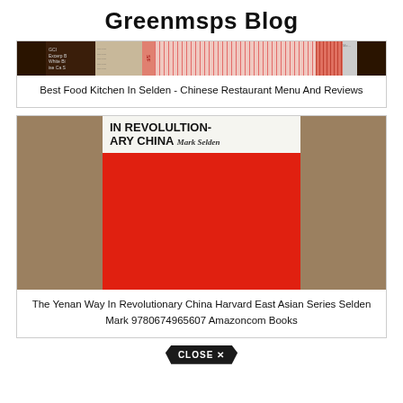Greenmsps Blog
[Figure (photo): Partial image of a Chinese restaurant menu with red text columns on pink/red background, dark covers on left and right]
Best Food Kitchen In Selden - Chinese Restaurant Menu And Reviews
[Figure (photo): Photo of a red book cover titled 'IN REVOLUTIONARY CHINA' by Mark Selden, on a tan/brown background]
The Yenan Way In Revolutionary China Harvard East Asian Series Selden Mark 9780674965607 Amazoncom Books